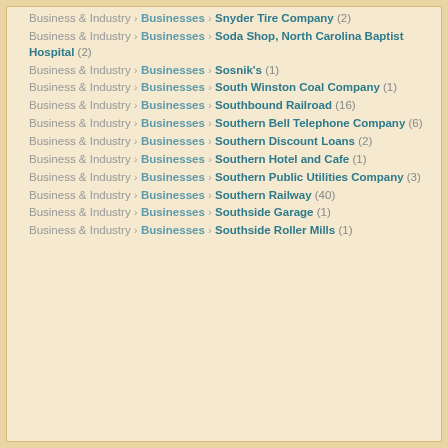Business & Industry › Businesses › Snyder Tire Company (2)
Business & Industry › Businesses › Soda Shop, North Carolina Baptist Hospital (2)
Business & Industry › Businesses › Sosnik's (1)
Business & Industry › Businesses › South Winston Coal Company (1)
Business & Industry › Businesses › Southbound Railroad (16)
Business & Industry › Businesses › Southern Bell Telephone Company (6)
Business & Industry › Businesses › Southern Discount Loans (2)
Business & Industry › Businesses › Southern Hotel and Cafe (1)
Business & Industry › Businesses › Southern Public Utilities Company (3)
Business & Industry › Businesses › Southern Railway (40)
Business & Industry › Businesses › Southside Garage (1)
Business & Industry › Businesses › Southside Roller Mills (1)